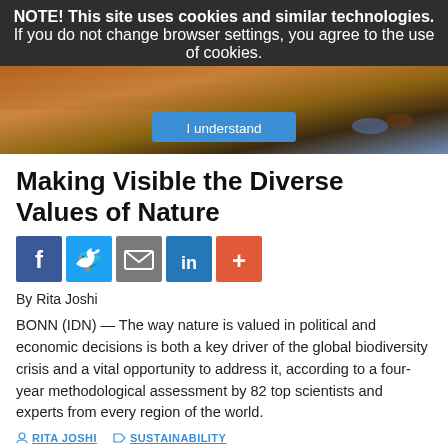NOTE! This site uses cookies and similar technologies.
If you do not change browser settings, you agree to the use of cookies.
[Figure (photo): Hero image showing colorful bird feet on a wooden surface, with a blue 'I understand' button overlay for cookie consent]
Making Visible the Diverse Values of Nature
[Figure (infographic): Social sharing icons row: Facebook (blue), Twitter (light blue), Email (grey), LinkedIn (blue), Plus/More (orange-red)]
By Rita Joshi
BONN (IDN) — The way nature is valued in political and economic decisions is both a key driver of the global biodiversity crisis and a vital opportunity to address it, according to a four-year methodological assessment by 82 top scientists and experts from every region of the world.
RITA JOSHI   SUSTAINABILITY